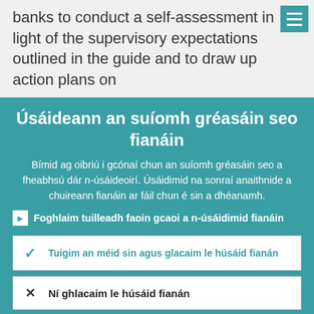banks to conduct a self-assessment in light of the supervisory expectations outlined in the guide and to draw up action plans on
Úsáideann an suíomh gréasáin seo fianáin
Bímid ag oibriú i gcónaí chun an suíomh gréasáin seo a fheabhsú dár n-úsáideoirí. Úsáidimid na sonraí anaithnide a chuireann fianáin ar fáil chun é sin a dhéanamh.
Foghlaim tuilleadh faoin gcaoi a n-úsáidimid fianáin
Tuigim an méid sin agus glacaim le húsáid fianán
Ní ghlacaim le húsáid fianán